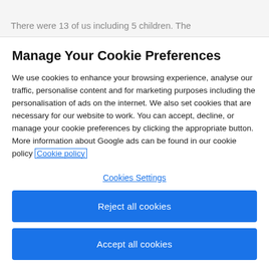There were 13 of us including 5 children. The
Manage Your Cookie Preferences
We use cookies to enhance your browsing experience, analyse our traffic, personalise content and for marketing purposes including the personalisation of ads on the internet. We also set cookies that are necessary for our website to work. You can accept, decline, or manage your cookie preferences by clicking the appropriate button. More information about Google ads can be found in our cookie policy Cookie policy
Cookies Settings
Reject all cookies
Accept all cookies